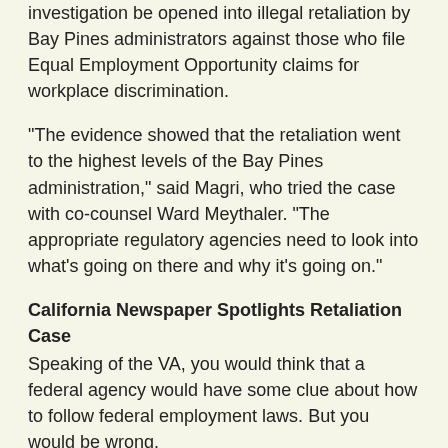investigation be opened into illegal retaliation by Bay Pines administrators against those who file Equal Employment Opportunity claims for workplace discrimination.
"The evidence showed that the retaliation went to the highest levels of the Bay Pines administration," said Magri, who tried the case with co-counsel Ward Meythaler. "The appropriate regulatory agencies need to look into what's going on there and why it's going on."
California Newspaper Spotlights Retaliation Case
Speaking of the VA, you would think that a federal agency would have some clue about how to follow federal employment laws. But you would be wrong.
We recently posted about Ann Williams and Jamie Fox, two women who were fired at the VA's Oakland Regional Center after speaking up about anti-gay harassment and a hostile working environment.